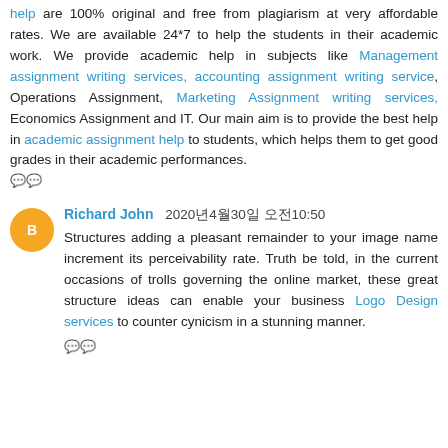help are 100% original and free from plagiarism at very affordable rates. We are available 24*7 to help the students in their academic work. We provide academic help in subjects like Management assignment writing services, accounting assignment writing service, Operations Assignment, Marketing Assignment writing services, Economics Assignment and IT. Our main aim is to provide the best help in academic assignment help to students, which helps them to get good grades in their academic performances.
reply
Richard John  2020년4월30일 오전10:50
Structures adding a pleasant remainder to your image name increment its perceivability rate. Truth be told, in the current occasions of trolls governing the online market, these great structure ideas can enable your business Logo Design services to counter cynicism in a stunning manner.
reply